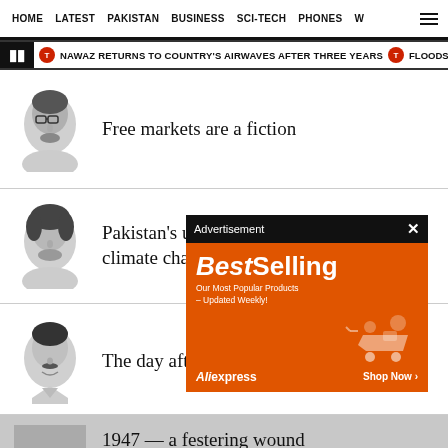HOME   LATEST   PAKISTAN   BUSINESS   SCI-TECH   PHONES   W
NAWAZ RETURNS TO COUNTRY'S AIRWAVES AFTER THREE YEARS   FLOODS,
Free markets are a fiction
Pakistan's upcoming nemesis — climate change
[Figure (other): Advertisement overlay: BestSelling - Our Most Popular Products – Updated Weekly! AliExpress Shop Now]
The day after'
1947 — a festering wound